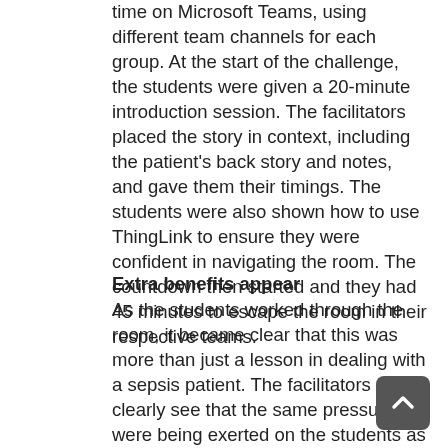time on Microsoft Teams, using different team channels for each group. At the start of the challenge, the students were given a 20-minute introduction session. The facilitators placed the story in context, including the patient's back story and notes, and gave them their timings. The students were also shown how to use ThingLink to ensure they were confident in navigating the room. The countdown then started and they had 45 minutes to escape the room in their respective teams.
Extra benefits appear
As the students worked through the room, it became clear that this was more than just a lesson in dealing with a sepsis patient. The facilitators could clearly see that the same pressures were being exerted on the students as in the physical escape room, despite being remote from the room and from each other. They were exhibiting the same levels of confusion and anxiety that the traditional escape room produced, as their brains became overwhelmed